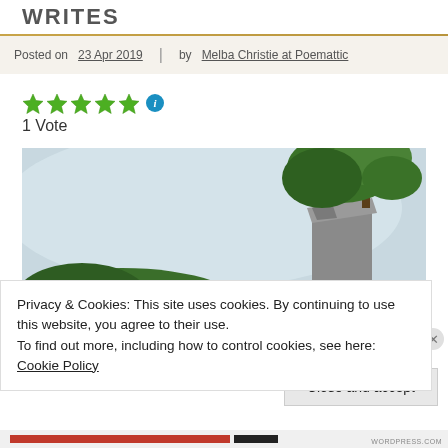WRITES
Posted on 23 Apr 2019 | by Melba Christie at Poemattic
1 Vote
[Figure (photo): Outdoor landscape photo showing a pale sky, green tree canopy upper right, a rocky cliff or stone wall, and a hillside of green trees in the lower portion.]
Privacy & Cookies: This site uses cookies. By continuing to use this website, you agree to their use.
To find out more, including how to control cookies, see here: Cookie Policy
Close and accept